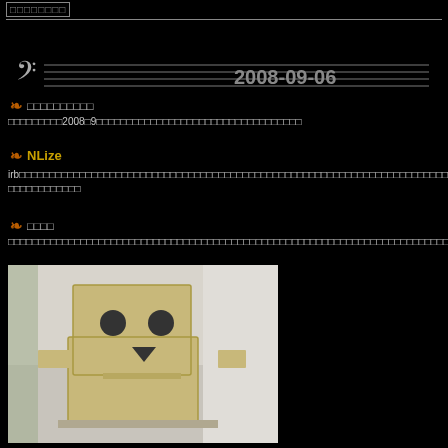[search box area]
2008-09-06
□□□□□□□□□□
□□□□□□□□□2008□9□□□□□□□□□□□□□□□□□□□□□□□□□
NLize
irb□□□□□□□□□□□□□□□□□□□□□□□□□□□□□□□□□□□□□□□□□□□□□□□□□□□□□□□□□□□□□□□□□□□□□□□□□□□□□□□□□□□□□□□□□□□□□□□□□□□□□□□□□□□□□
□□□□
□□□□□□□□□□□□□□□□□□□□□□□□□□□□□□□□□□□□□□□□□□□□□□□□□□□□□□□□□□□□□□□□□□□□□□□□□□□□□□□□□□□□□□□□□□□□□□□□
[Figure (photo): Photo of a Danboard cardboard robot figure with box head, circular eyes, and triangular mouth, sitting on a surface]